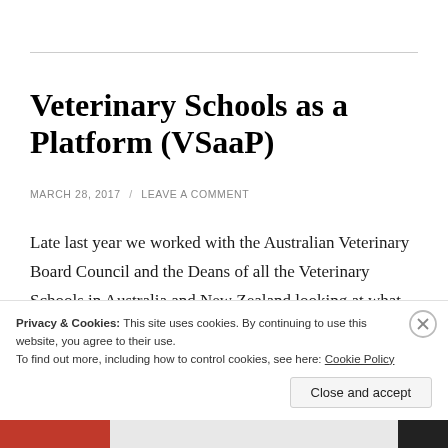Veterinary Schools as a Platform (VSaaP)
MARCH 28, 2017  /  LEAVE A COMMENT
Late last year we worked with the Australian Veterinary Board Council and the Deans of all the Veterinary Schools in Australia and New Zealand looking at what the future of veterinary education and regulation might
Privacy & Cookies: This site uses cookies. By continuing to use this website, you agree to their use.
To find out more, including how to control cookies, see here: Cookie Policy
Close and accept